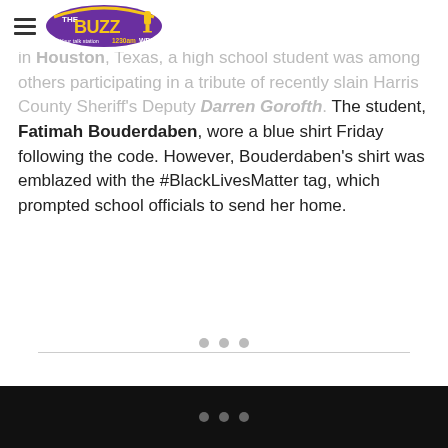The Buzz WDBZ
in Houston, Texas, a high school student was among others participating in a tribute of recently slain Harris County Sheriff's Deputy Darren Gorofth. The student, Fatimah Bouderdaben, wore a blue shirt Friday following the code. However, Bouderdaben's shirt was emblazed with the #BlackLivesMatter tag, which prompted school officials to send her home.